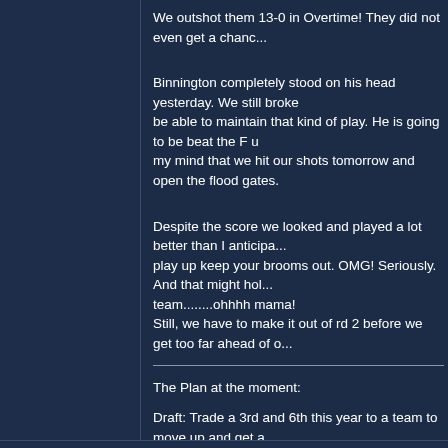We outshot them 13-0 in Overtime! They did not even get a chance...
Binnington completely stood on his head yesterday. We still broke... be able to maintain that kind of play. He is going to be beat the F u... my mind that we hit our shots tomorrow and open the flood gates.
Despite the score we looked and played a lot better than I anticipa... play up keep your brooms out. OMG! Seriously. And that might hol... team........ohhhh mama!
Still, we have to make it out of rd 2 before we get too far ahead of o...
The Plan at the moment:
Draft: Trade a 3rd and 6th this year to a team to move up and get a...
Players I want:
Jake Ferguson (Jake Butt) or Jelani Woods or Jeremy Ruckert or G...
All 4th rd or later.
Troy Anderson LB 3rd/4th rd (yay Timmy!)
Neil Farrell, JR DL- run stuffer- bye purcell